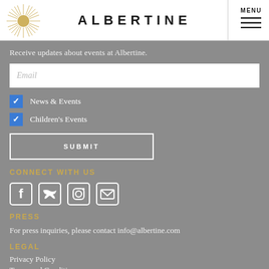ALBERTINE MENU
Receive updates about events at Albertine.
Email
News & Events
Children's Events
SUBMIT
CONNECT WITH US
[Figure (illustration): Social media icons: Facebook, Twitter, Instagram, Email]
PRESS
For press inquiries, please contact info@albertine.com
LEGAL
Privacy Policy
Terms and Conditions